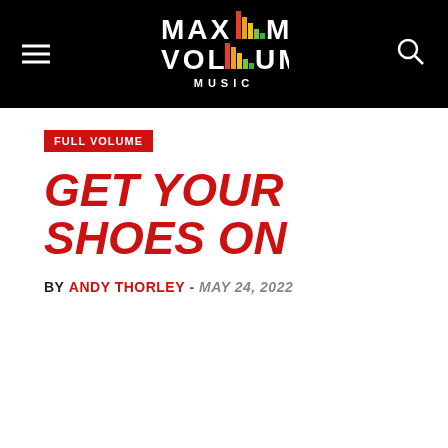MAXIMUM VOLUME MUSIC
FULL VOLUME
GET YOUR SHOES ON
BY ANDY THORLEY - MAY 24, 2022